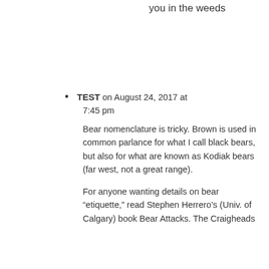you in the weeds
TEST on August 24, 2017 at 7:45 pm

Bear nomenclature is tricky. Brown is used in common parlance for what I call black bears, but also for what are known as Kodiak bears (far west, not a great range).

For anyone wanting details on bear "etiquette," read Stephen Herrero's (Univ. of Calgary) book Bear Attacks. The Craigheads